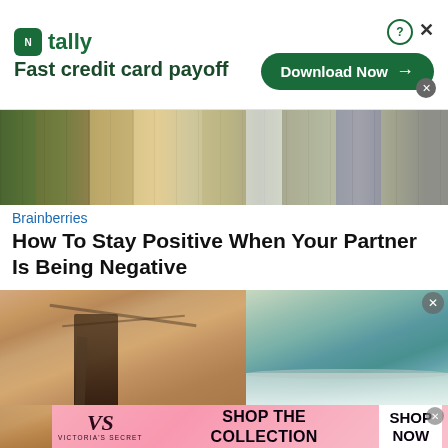[Figure (photo): Tally app advertisement banner: green logo with 'tally' text, tagline 'Fast credit card payoff', Download Now button with arrow]
[Figure (photo): Crowd of people outdoors, group photo]
Brainberries
How To Stay Positive When Your Partner Is Being Negative
[Figure (photo): Close-up photo of a person's neck/chin area with a chain necklace, next to an ocean/beach scene]
[Figure (photo): Victoria's Secret advertisement banner: model, VS logo, 'SHOP THE COLLECTION' text, 'SHOP NOW' button]